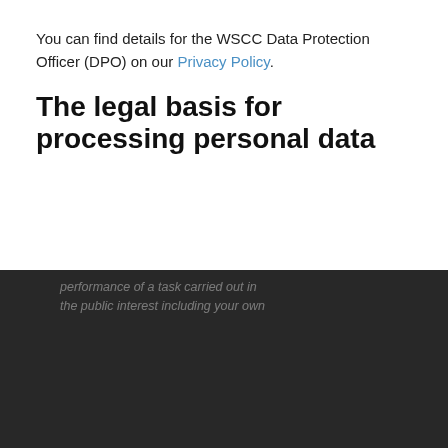You can find details for the WSCC Data Protection Officer (DPO) on our Privacy Policy.
The legal basis for processing personal data
[Figure (screenshot): Cookie consent overlay popup on a dark semi-transparent background containing: cookie usage message with link 'cookie policy (opens in new window)', checkboxes for Necessary cookies (gray checked), Performance cookies (blue checked), Marketing cookies (unchecked), and an OK button. Behind the overlay, dimmed page text about performance of a task carried out in the public interest, legal obligation, prevention and detection, and protecting someone's life.]